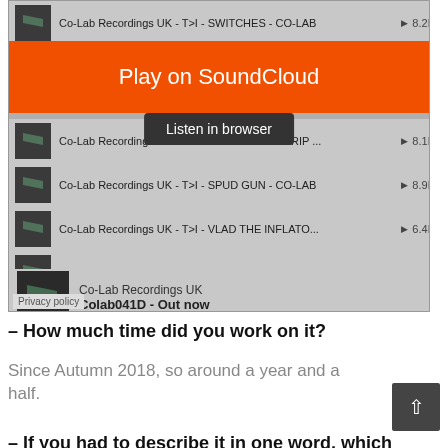[Figure (screenshot): SoundCloud embedded widget showing a playlist from Co-Lab Recordings UK with tracks: SWITCHES (8.2K plays), MECHANICAL GRIP (8.1K plays), SPUD GUN (8.9K plays), VLAD THE INFLATO... (6.4K plays), NEXT STEP (6.2K plays). An orange 'Play on SoundCloud' banner overlays the top, with a 'Listen in browser' dark bubble below it. A SoundCloud logo waveform icon is shown, and at the bottom is a Co-Lab Recordings UK thumbnail with 'Colab041D - Out now'. A 'Privacy policy' label is visible at the bottom-left.]
– How much time did you work on it?
Since Autumn 2018, so around a year and a half.
– If you had to describe it in one word, which